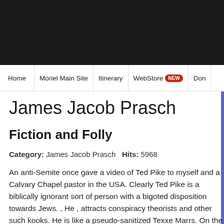[Figure (screenshot): Dark navigation bar with logo area at top of webpage]
Home | Moriel Main Site | Itinerary | WebStore NEW | Don
James Jacob Prasch
Fiction and Folly
Category: James Jacob Prasch   Hits: 5968
An anti-Semite once gave a video of Ted Pike to myself and a Calvary Chapel pastor in the USA. Clearly Ted Pike is a biblically ignorant sort of person with a bigoted disposition towards Jews. ,  He ,  attracts conspiracy theorists and other such kooks. He is like a pseudo-sanitized Texxe Marrs. On the video , he packaged half truths in distortions of Scripture. The anti-Israel media bias, the vulnerability of Israel to American pressure to forfeit land to Christian persecuting